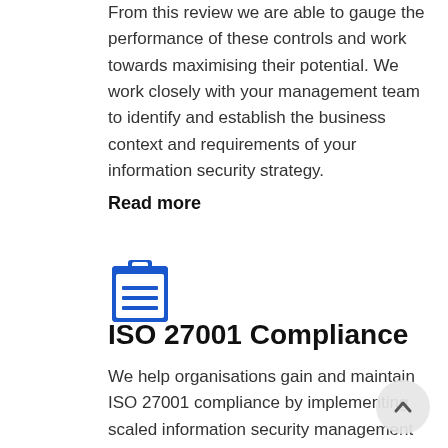From this review we are able to gauge the performance of these controls and work towards maximising their potential. We work closely with your management team to identify and establish the business context and requirements of your information security strategy.
Read more
[Figure (illustration): Blue clipboard icon with lined document lines]
ISO 27001 Compliance
We help organisations gain and maintain ISO 27001 compliance by implementing scaled information security management systems (ISMS) that protect crown jewels, such as personally identifiable information (PII) and financial details. We improve the effectiveness of existing security